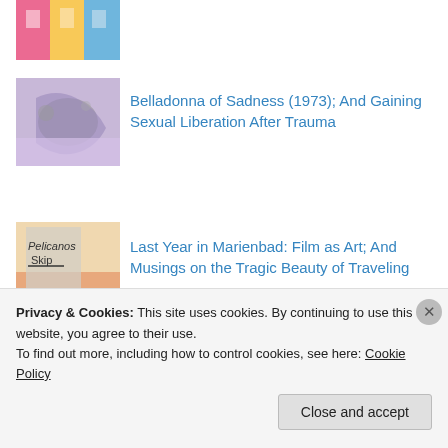[Figure (photo): Colorful book covers thumbnail at top of page, partially visible]
[Figure (photo): Abstract purple and grey textured image]
Belladonna of Sadness (1973); And Gaining Sexual Liberation After Trauma
[Figure (photo): Image of a wall with graffiti text]
Last Year in Marienbad: Film as Art; And Musings on the Tragic Beauty of Traveling
[Figure (photo): Partially visible photo at bottom]
Captain America: The First Avenger
Privacy & Cookies: This site uses cookies. By continuing to use this website, you agree to their use. To find out more, including how to control cookies, see here: Cookie Policy
Close and accept